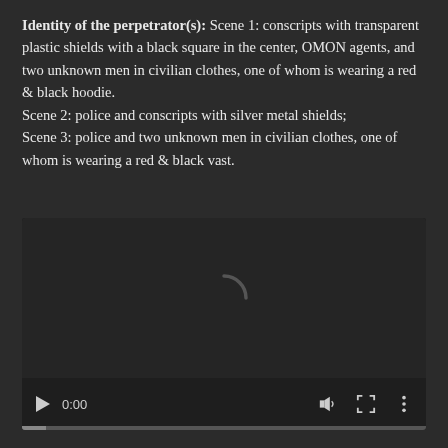Identity of the perpetrator(s): Scene 1: conscripts with transparent plastic shields with a black square in the center, OMON agents, and two unknown men in civilian clothes, one of whom is wearing a red & black hoodie.
Scene 2: police and conscripts with silver metal shields;
Scene 3: police and two unknown men in civilian clothes, one of whom is wearing a red & black vast.
[Figure (other): Embedded video player with dark background, loading spinner arc visible in center, showing timecode 0:00 and playback controls including play button, volume icon, fullscreen icon, and options icon, with a progress bar at the bottom.]